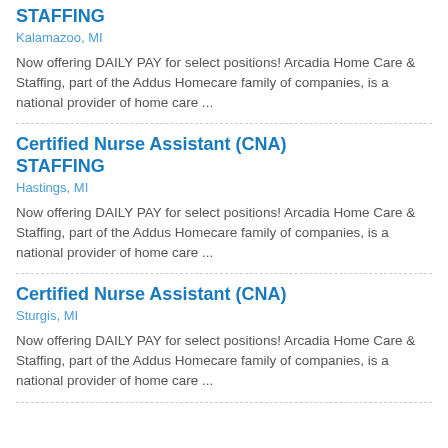STAFFING
Kalamazoo, MI
Now offering DAILY PAY for select positions! Arcadia Home Care & Staffing, part of the Addus Homecare family of companies, is a national provider of home care ...
Certified Nurse Assistant (CNA) STAFFING
Hastings, MI
Now offering DAILY PAY for select positions! Arcadia Home Care & Staffing, part of the Addus Homecare family of companies, is a national provider of home care ...
Certified Nurse Assistant (CNA)
Sturgis, MI
Now offering DAILY PAY for select positions! Arcadia Home Care & Staffing, part of the Addus Homecare family of companies, is a national provider of home care ...